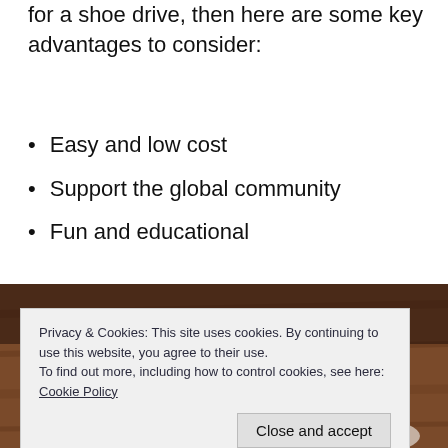for a shoe drive, then here are some key advantages to consider:
Easy and low cost
Support the global community
Fun and educational
[Figure (photo): Overhead view of multiple pairs of shoes arranged on a wooden floor surface, showing various styles of footwear including sneakers and casual shoes.]
Privacy & Cookies: This site uses cookies. By continuing to use this website, you agree to their use.
To find out more, including how to control cookies, see here: Cookie Policy